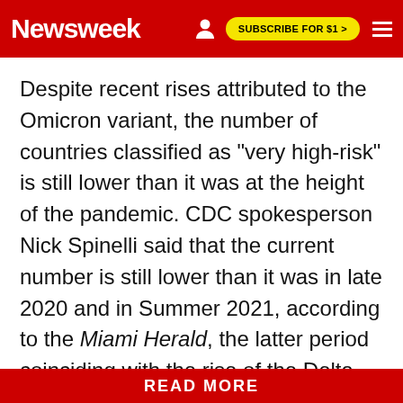Newsweek | SUBSCRIBE FOR $1 >
Despite recent rises attributed to the Omicron variant, the number of countries classified as "very high-risk" is still lower than it was at the height of the pandemic. CDC spokesperson Nick Spinelli said that the current number is still lower than it was in late 2020 and in Summer 2021, according to the Miami Herald, the latter period coinciding with the rise of the Delta variant.
READ MORE